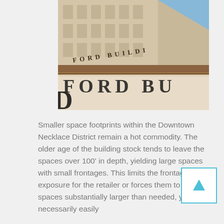[Figure (photo): Close-up angled photograph of a large multi-story historic commercial building façade with 'FORD BUILDING' lettering visible on the stone cornice, taken from below looking upward.]
Smaller space footprints within the Downtown Necklace District remain a hot commodity. The older age of the building stock tends to leave the spaces over 100' in depth, yielding large spaces with small frontages. This limits the frontage and exposure for the retailer or forces them to accept spaces substantially larger than needed, yet not necessarily easily